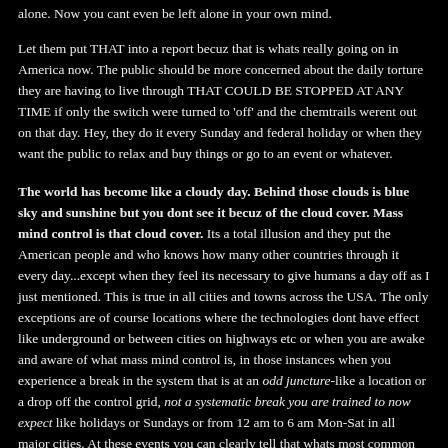alone. Now you cant even be left alone in your own mind.
Let them put THAT into a report becuz that is whats really going on in America now. The public should be more concerned about the daily torture they are having to live through THAT COULD BE STOPPED AT ANY TIME if only the switch were turned to 'off' and the chemtrails werent out on that day. Hey, they do it every Sunday and federal holiday or when they want the public to relax and buy things or go to an event or whatever.
The world has become like a cloudy day. Behind those clouds is blue sky and sunshine but you dont see it becuz of the cloud cover. Mass mind control is that cloud cover. Its a total illusion and they put the American people and who knows how many other countries through it every day...except when they feel its necessary to give humans a day off as I just mentioned. This is true in all cities and towns across the USA. The only exceptions are of course locations where the technologies dont have effect like underground or between cities on highways etc or when you are awake and aware of what mass mind control is, in those instances when you experience a break in the system that is at an odd juncture-like a location or a drop off the control grid, not a systematic break you are trained to now expect like holidays or Sundays or from 12 am to 6 am Mon-Sat in all major cities. At these events you can clearly tell that whats most common now as a condition of human life isn't